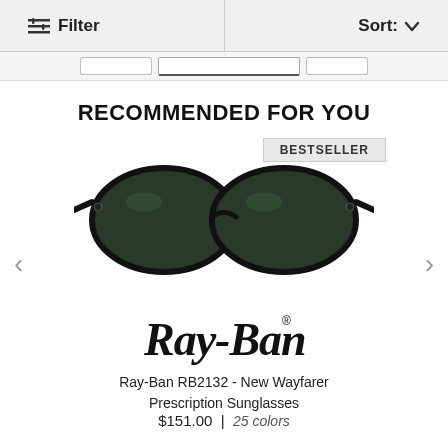Filter   Sort:
RECOMMENDED FOR YOU
BESTSELLER
[Figure (photo): Ray-Ban New Wayfarer prescription sunglasses with black frames and dark green lenses, shown from a front-angle perspective]
[Figure (logo): Ray-Ban cursive script logo in black]
Ray-Ban RB2132 - New Wayfarer Prescription Sunglasses
$151.00 | 25 colors